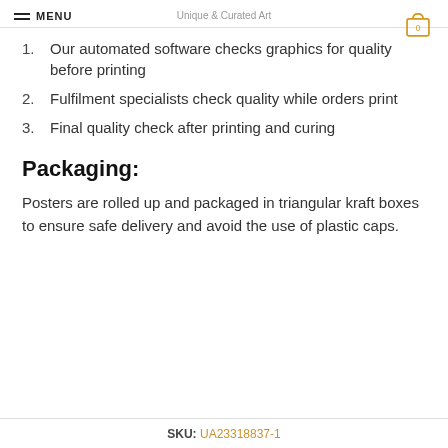MENU | Unique & Curated Art
1. Our automated software checks graphics for quality before printing
2. Fulfilment specialists check quality while orders print
3. Final quality check after printing and curing
Packaging:
Posters are rolled up and packaged in triangular kraft boxes to ensure safe delivery and avoid the use of plastic caps.
SKU: UA23318837-1